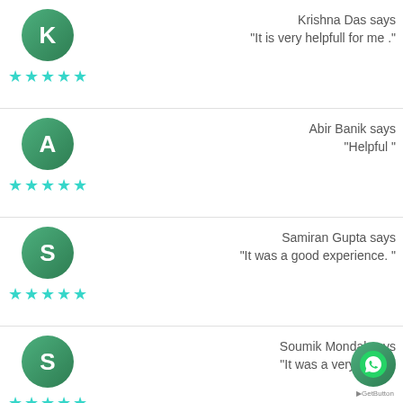Krishna Das says
"It is very helpfull for me ."
Abir Banik says
"Helpful "
Samiran Gupta says
"It was a good experience. "
Soumik Mondal says
"It was a very helpful ..."